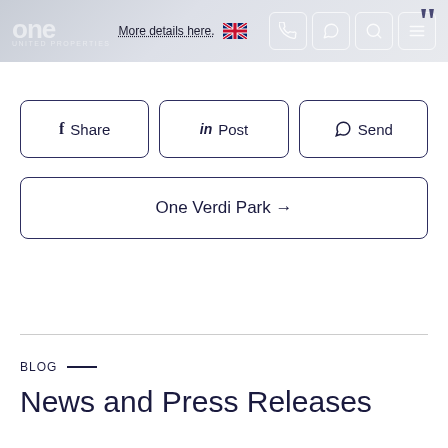one United Properties — More details here. [UK flag] [phone] [whatsapp] [search] [menu]
f Share
in Post
© Send
One Verdi Park →
BLOG —
News and Press Releases